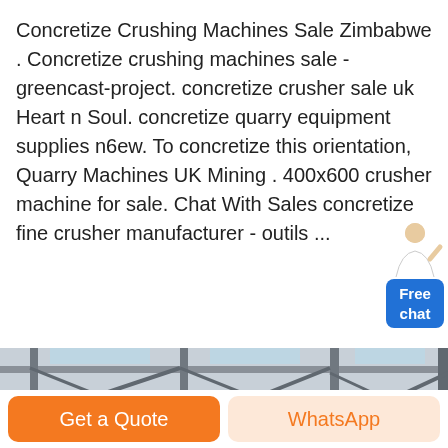Concretize Crushing Machines Sale Zimbabwe . Concretize crushing machines sale - greencast-project. concretize crusher sale uk Heart n Soul. concretize quarry equipment supplies n6ew. To concretize this orientation, Quarry Machines UK Mining . 400x600 crusher machine for sale. Chat With Sales concretize fine crusher manufacturer - outils ...
[Figure (photo): Interior of a large industrial factory building with steel roof trusses, overhead cranes, and industrial equipment on the floor.]
Get a Quote
WhatsApp